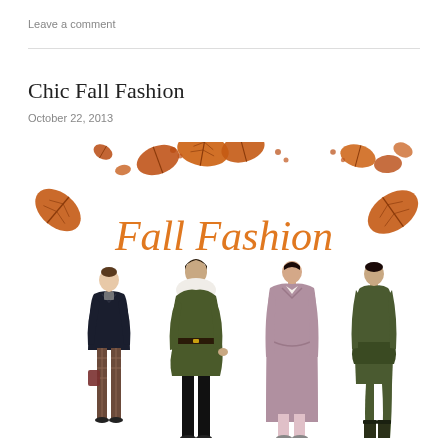Leave a comment
Chic Fall Fashion
October 22, 2013
[Figure (illustration): Fall Fashion illustration with autumn leaves and four female fashion models wearing fall outfits in dark navy, olive green, mauve, and dark green colors. The words 'Fall Fashion' are written in orange cursive script in the center.]